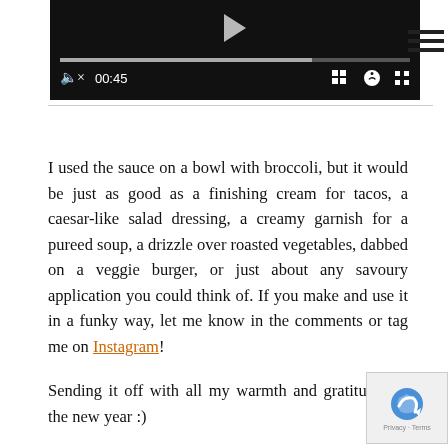[Figure (screenshot): Video player UI with dark background, play button, progress bar showing playback at 00:45, and controls including mute, grid, settings, and fullscreen icons. Hamburger menu lines visible to the right.]
I used the sauce on a bowl with broccoli, but it would be just as good as a finishing cream for tacos, a caesar-like salad dressing, a creamy garnish for a pureed soup, a drizzle over roasted vegetables, dabbed on a veggie burger, or just about any savoury application you could think of. If you make and use it in a funky way, let me know in the comments or tag me on Instagram!
Sending it off with all my warmth and gratitude for the new year :)